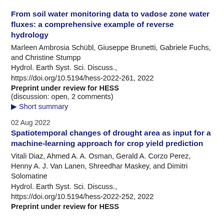From soil water monitoring data to vadose zone water fluxes: a comprehensive example of reverse hydrology
Marleen Ambrosia Schübl, Giuseppe Brunetti, Gabriele Fuchs, and Christine Stumpp
Hydrol. Earth Syst. Sci. Discuss., https://doi.org/10.5194/hess-2022-261, 2022
Preprint under review for HESS
(discussion: open, 2 comments)
▶ Short summary
02 Aug 2022
Spatiotemporal changes of drought area as input for a machine-learning approach for crop yield prediction
Vitali Diaz, Ahmed A. A. Osman, Gerald A. Corzo Perez, Henny A. J. Van Lanen, Shreedhar Maskey, and Dimitri Solomatine
Hydrol. Earth Syst. Sci. Discuss., https://doi.org/10.5194/hess-2022-252, 2022
Preprint under review for HESS